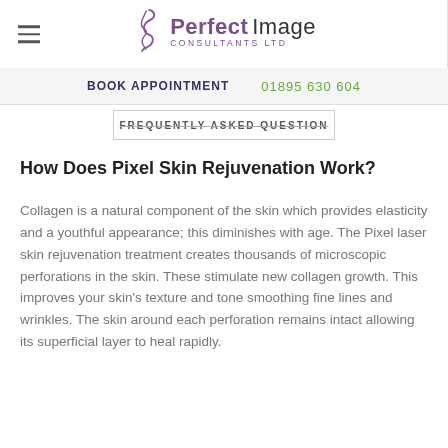[Figure (logo): Perfect Image Consultants Ltd logo with stylized figure icon]
BOOK APPOINTMENT   01895 630 604
FREQUENTLY ASKED QUESTION
How Does Pixel Skin Rejuvenation Work?
Collagen is a natural component of the skin which provides elasticity and a youthful appearance; this diminishes with age. The Pixel laser skin rejuvenation treatment creates thousands of microscopic perforations in the skin. These stimulate new collagen growth. This improves your skin's texture and tone smoothing fine lines and wrinkles. The skin around each perforation remains intact allowing its superficial layer to heal rapidly.